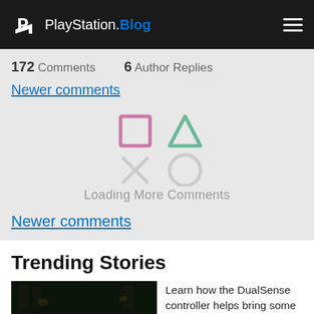PlayStation.Blog
172 Comments   6 Author Replies
Newer comments
[Figure (illustration): PlayStation controller symbols (square, triangle, X, circle) in pink, green, and white, used as a loading spinner]
Loading More Comments
Newer comments
Trending Stories
[Figure (photo): Dark, moody screenshot from Inscryption game showing a dimly lit tabletop scene with glowing green card elements]
Learn how the DualSense controller helps bring some of Inscryption's deepest secrets to life